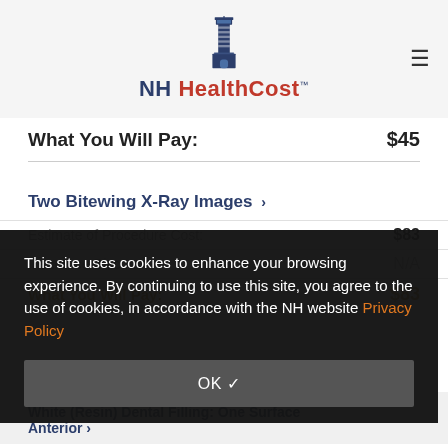NH HealthCost
What You Will Pay: $45
Two Bitewing X-Ray Images >
Estimate of Procedure Cost: $83
Insurance Discount: N/A
What You Will Pay: $83
This site uses cookies to enhance your browsing experience. By continuing to use this site, you agree to the use of cookies, in accordance with the NH website Privacy Policy
OK ✓
White (Resin) Dental Filling: One Surface Anterior >